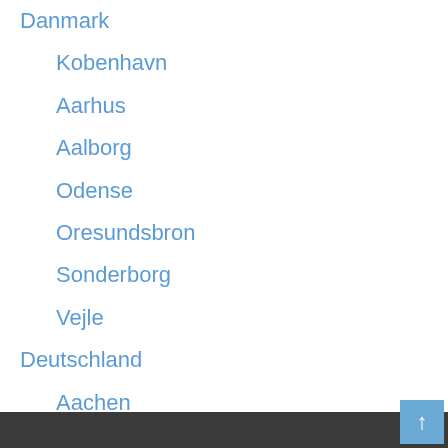Danmark
Kobenhavn
Aarhus
Aalborg
Odense
Oresundsbron
Sonderborg
Vejle
Deutschland
Aachen
Aschaffenburg
Berlin
Bielefeld